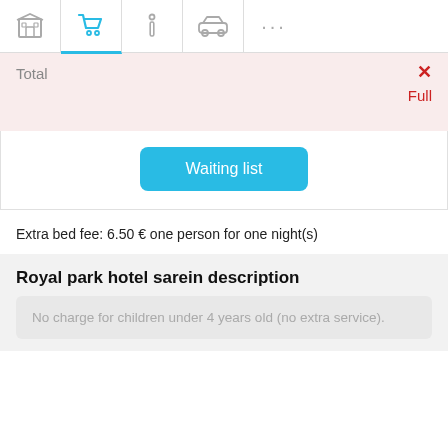Navigation bar with hotel, cart, info, transport, more icons
| Total |  |
| --- | --- |
|  | ✕ Full |
Waiting list
Extra bed fee: 6.50 € one person for one night(s)
Royal park hotel sarein description
No charge for children under 4 years old (no extra service).